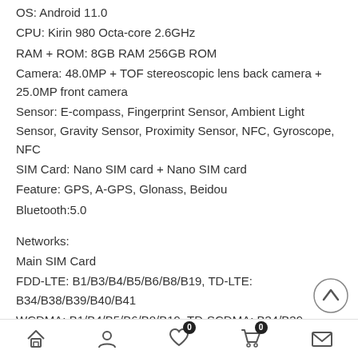OS: Android 11.0
CPU: Kirin 980 Octa-core 2.6GHz
RAM + ROM: 8GB RAM 256GB ROM
Camera: 48.0MP + TOF stereoscopic lens back camera + 25.0MP front camera
Sensor: E-compass, Fingerprint Sensor, Ambient Light Sensor, Gravity Sensor, Proximity Sensor, NFC, Gyroscope, NFC
SIM Card: Nano SIM card + Nano SIM card
Feature: GPS, A-GPS, Glonass, Beidou
Bluetooth:5.0
Networks:
Main SIM Card
FDD-LTE: B1/B3/B4/B5/B6/B8/B19, TD-LTE: B34/B38/B39/B40/B41
WCDMA: B1/B4/B5/B6/B8/B19, TD-SCDMA: B34/B39, CDMA BC0 ( only support China Telecom ( mainland + Macao )
GSM: B2/B3/B5/B8
Vice SIM Card
FDD-LTE: B1/B3/B4/B5/B6/B8/B19, TD-LTE: B34/B38/B39/B40/B41
WCDMA: B1/B4/B5/B6/B8/B19, CDMA BC0 ( only support China Telecom ( mainland + Macao )
GSM: B2/B3/B5/B8
Specification
Basic Information
Home | Account | Wishlist (0) | Cart (0) | Message